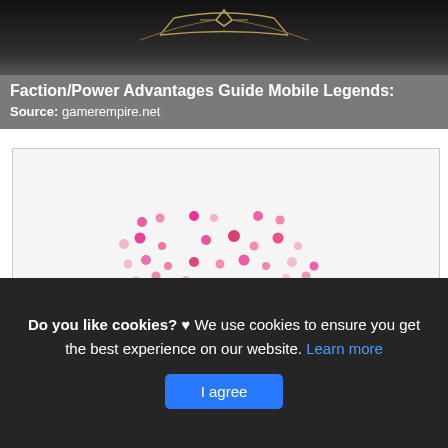[Figure (screenshot): Dark fantasy game header image with decorative emblem/crown motif at top center, dark gradient background]
Faction/Power Advantages Guide Mobile Legends:
Source: gamerempire.net
[Figure (other): Loading spinner composed of small pink and red dots arranged in a circular/scattered pattern on a light grey background]
Do you like cookies? ♥ We use cookies to ensure you get the best experience on our website. Learn more
I agree